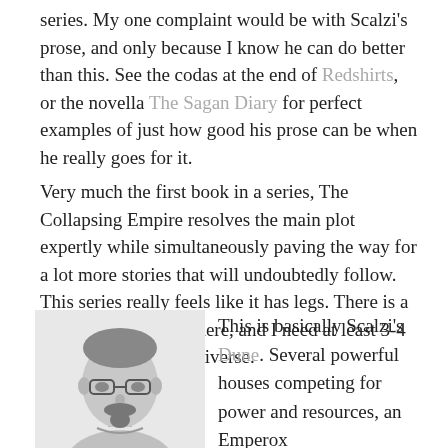series. My one complaint would be with Scalzi's prose, and only because I know he can do better than this. See the codas at the end of Redshirts, or the novella The Sagan Diary for perfect examples of just how good his prose can be when he really goes for it.
Very much the first book in a series, The Collapsing Empire resolves the main plot expertly while simultaneously paving the way for a lot more stories that will undoubtedly follow. This series really feels like it has legs. There is a lot of stuff going on here, and I need at least 3-4 more books in this universe.
[Figure (photo): Black and white headshot photo of a man with glasses and a goatee/beard]
This is basically Scalzi's Dune. Several powerful houses competing for power and resources, an Emperox